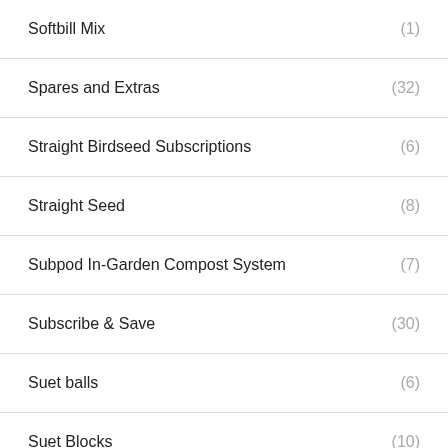Softbill Mix (1)
Spares and Extras (32)
Straight Birdseed Subscriptions (6)
Straight Seed (8)
Subpod In-Garden Compost System (7)
Subscribe & Save (30)
Suet balls (6)
Suet Blocks (10)
Suet Pellets (6)
Sunflower Seed
Urbalive Worm Composter Wormery Kits (12)